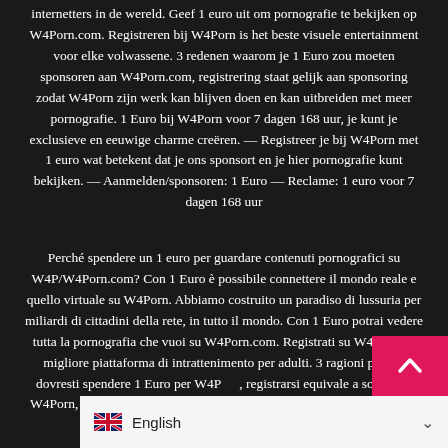internetters in de wereld. Geef 1 euro uit om pornografie te bekijken op W4Porn.com. Registreren bij W4Porn is het beste visuele entertainment voor elke volwassene. 3 redenen waarom je 1 Euro zou moeten sponsoren aan W4Porn.com, registrering staat gelijk aan sponsoring zodat W4Porn zijn werk kan blijven doen en kan uitbreiden met meer pornografie. 1 Euro bij W4Porn voor 7 dagen 168 uur, je kunt je exclusieve en eeuwige charme creëren. — Registreer je bij W4Porn met 1 euro wat betekent dat je ons sponsort en je hier pornografie kunt bekijken. — Aanmelden/sponsoren: 1 Euro — Reclame: 1 euro voor 7 dagen 168 uur
Perché spendere un 1 euro per guardare contenuti pornografici su W4P/W4Porn.com? Con 1 Euro è possibile connettere il mondo reale e quello virtuale su W4Porn. Abbiamo costruito un paradiso di lussuria per miliardi di cittadini della rete, in tutto il mondo. Con 1 Euro potrai vedere tutta la pornografia che vuoi su W4Porn.com. Registrati su W4Porn, la migliore piattaforma di intrattenimento per adulti. 3 ragioni per cui dovresti spendere 1 Euro per W4Porn, registrarsi equivale a sostenere W4Porn, affinché possa continuare a funzionare e arricchirsi di ulteriori contenuti pornografici. 1 Euro per 7 giorni 168 ore, potrai creare il tuo...
[Figure (other): Pink/red back-to-top button with upward chevron arrow]
[Figure (other): Language selector bar showing UK flag and 'English' text with dropdown arrow]